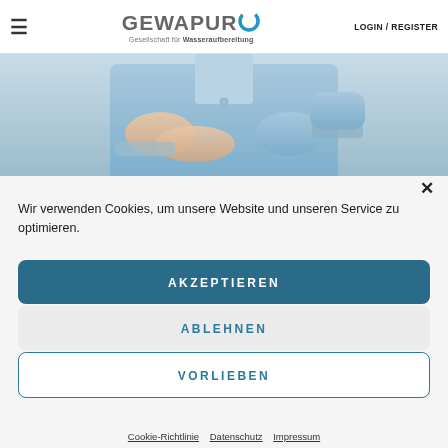≡  GEWAPUR Gesellschaft für Wasseraufbereitung  LOGIN / REGISTER
[Figure (photo): Person in light blue shirt with arms crossed, cropped at torso level]
Wir verwenden Cookies, um unsere Website und unseren Service zu optimieren.
AKZEPTIEREN
ABLEHNEN
VORLIEBEN
Cookie-Richtlinie  Datenschutz  Impressum